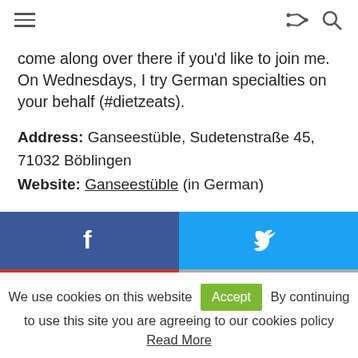[hamburger menu icon, share icon, search icon]
come along over there if you'd like to join me.  On Wednesdays, I try German specialties on your behalf (#dietzeats).
Address: Ganseestüble, Sudetenstraße 45, 71032 Böblingen
Website: Ganseestüble (in German)
[Figure (other): Facebook share button (blue) and Twitter share button (cyan), with Pinterest (red) and email/other (gray) buttons below]
We use cookies on this website  Accept  By continuing to use this site you are agreeing to our cookies policy  Read More